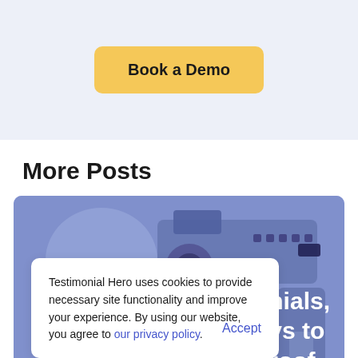Book a Demo
More Posts
[Figure (photo): Blue-tinted photo of a professional video camera with accessories, partially overlaid by a cookie consent popup and white overlay text reading 'nials, vs to roof']
Testimonial Hero uses cookies to provide necessary site functionality and improve your experience. By using our website, you agree to our privacy policy.
Accept